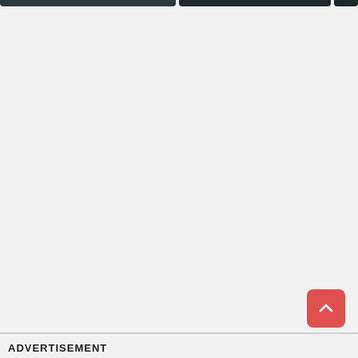[Figure (photo): Partial top edge of photo thumbnails/cards cropped at the top of the page — dark toned images]
[Figure (other): Red rounded square scroll-to-top button with upward chevron arrow icon]
ADVERTISEMENT